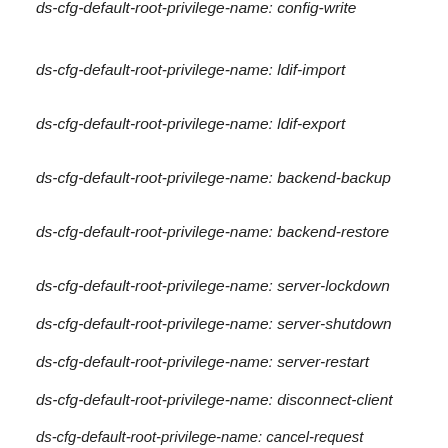ds-cfg-default-root-privilege-name: config-write
ds-cfg-default-root-privilege-name: ldif-import
ds-cfg-default-root-privilege-name: ldif-export
ds-cfg-default-root-privilege-name: backend-backup
ds-cfg-default-root-privilege-name: backend-restore
ds-cfg-default-root-privilege-name: server-lockdown
ds-cfg-default-root-privilege-name: server-shutdown
ds-cfg-default-root-privilege-name: server-restart
ds-cfg-default-root-privilege-name: disconnect-client
ds-cfg-default-root-privilege-name: cancel-request
ds-cfg-default-root-privilege-name: password-reset